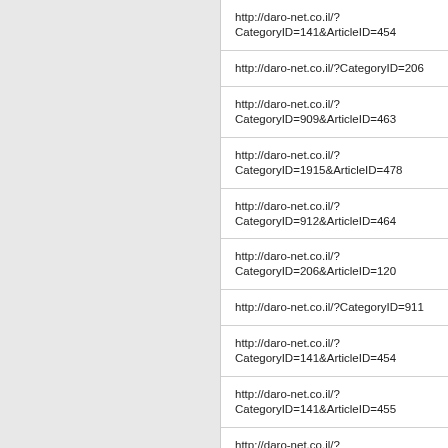http://daro-net.co.il/?CategoryID=141&ArticleID=454
http://daro-net.co.il/?CategoryID=206
http://daro-net.co.il/?CategoryID=909&ArticleID=463
http://daro-net.co.il/?CategoryID=1915&ArticleID=478
http://daro-net.co.il/?CategoryID=912&ArticleID=464
http://daro-net.co.il/?CategoryID=206&ArticleID=120
http://daro-net.co.il/?CategoryID=911
http://daro-net.co.il/?CategoryID=141&ArticleID=454
http://daro-net.co.il/?CategoryID=141&ArticleID=455
http://daro-net.co.il/?CategoryID=910&ArticleID=468
http://daro-net.co.il/?CategoryID=910&ArticleID=468
http://daro-net.co.il/?CategoryID=910&ArticleID=468
http://daro-net.co.il/?CategoryID=910&ArticleID=465